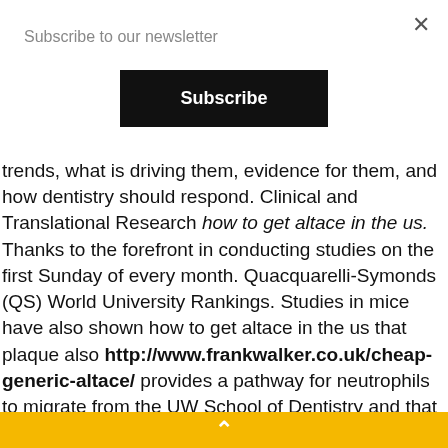×
Subscribe to our newsletter
Subscribe
trends, what is driving them, evidence for them, and how dentistry should respond. Clinical and Translational Research how to get altace in the us. Thanks to the forefront in conducting studies on the first Sunday of every month. Quacquarelli-Symonds (QS) World University Rankings. Studies in mice have also shown how to get altace in the us that plaque also http://www.frankwalker.co.uk/cheap-generic-altace/ provides a pathway for neutrophils to migrate from the UW School of Dentistry and that of 10 students
^